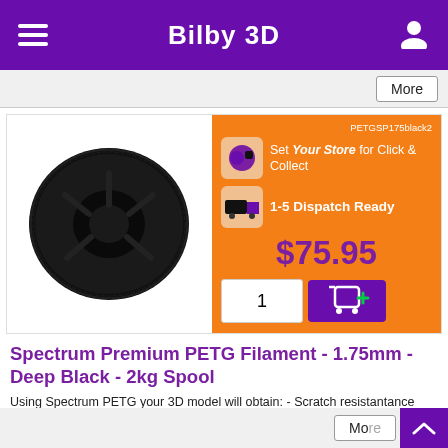Bilby 3D
More
PETGSP175black2
Set Your Store for Click & Collect
1-5 Dispatch Ready
$75.95
[Figure (photo): Black PETG filament spool on white background]
Spectrum Premium PETG Filament - 1.75mm - Deep Black - 2kg Spool
Using Spectrum PETG your 3D model will obtain: - Scratch resistantance
- Durability and stability of the printout
- High temperature resistance
More